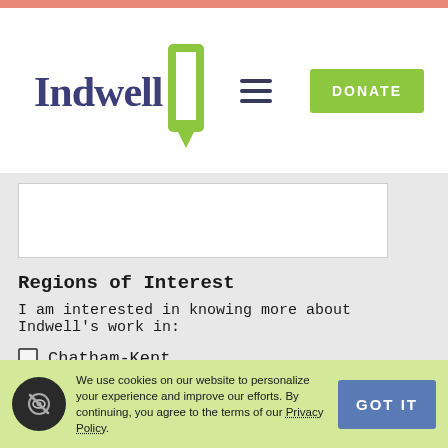[Figure (logo): Indwell logo with green house/door icon and purple text]
Regions of Interest
I am interested in knowing more about Indwell's work in:
Chatham-Kent
Haldimand-Norfolk
Hamilton
London
Oxford County
We use cookies on our website to personalize your experience and improve our efforts. By continuing, you agree to the terms of our Privacy Policy.